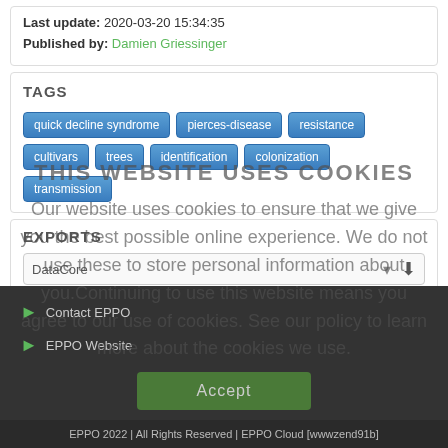Last update: 2020-03-20 15:34:35
Published by: Damien Griessinger
TAGS
quick decline syndrome
pierces-disease
resistance
cultivars
trees
identification
colonization
transmission
EXPORTS
DataCore
THIS WEBSITE USES COOKIES
Our website uses cookies to ensure that we give you the best possible online experience. We do not use these to store personal information about you.Continuing to use this website means you agree to our use of cookies. See our policy to learn more about the cookies we use.
Contact EPPO
EPPO Website
Accept
EPPO 2022 | All Rights Reserved | EPPO Cloud [wwwzend91b]